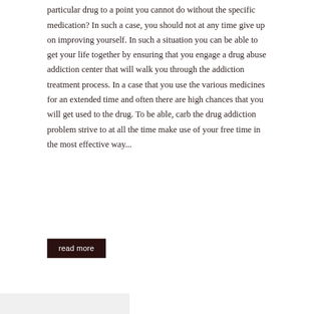particular drug to a point you cannot do without the specific medication? In such a case, you should not at any time give up on improving yourself. In such a situation you can be able to get your life together by ensuring that you engage a drug abuse addiction center that will walk you through the addiction treatment process. In a case that you use the various medicines for an extended time and often there are high chances that you will get used to the drug. To be able, carb the drug addiction problem strive to at all the time make use of your free time in the most effective way...
read more